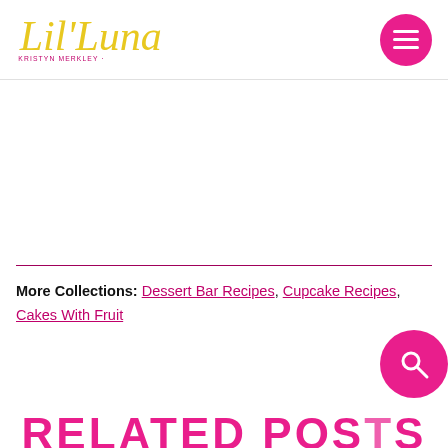[Figure (logo): Lil' Luna script logo in yellow/gold with 'with Kristyn Merkley' tagline in pink]
[Figure (other): Pink circular hamburger menu button with three white horizontal lines]
More Collections: Dessert Bar Recipes, Cupcake Recipes, Cakes With Fruit
[Figure (other): Pink circular search button with magnifying glass icon]
RELATED POSTS (partial, cut off at bottom)